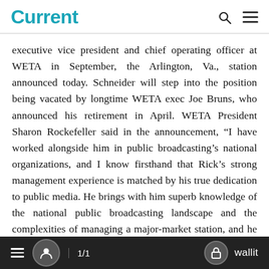Current
executive vice president and chief operating officer at WETA in September, the Arlington, Va., station announced today. Schneider will step into the position being vacated by longtime WETA exec Joe Bruns, who announced his retirement in April. WETA President Sharon Rockefeller said in the announcement, “I have worked alongside him in public broadcasting’s national organizations, and I know firsthand that Rick’s strong management experience is matched by his true dedication to public media. He brings with him superb knowledge of the national public broadcasting landscape and the complexities of managing a major-market station, and he shares our profound commitment to public service.”
Schneider will report to Rockefeller. He will supervise all senior managers as well as oversee WETA’s financial and
1/1   wallit